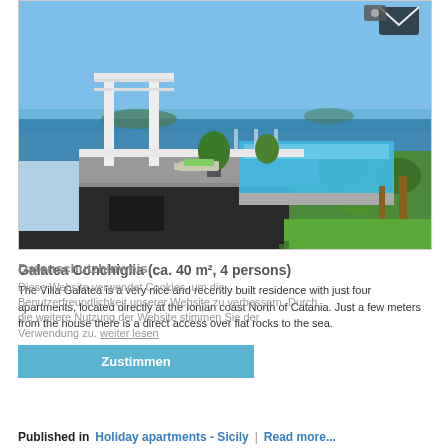[Figure (photo): Aerial/elevated view of a modern villa with an infinity pool overlooking the Ionian coast of Sicily. White modern architecture, lounge chairs on terrace, lush green garden, blue sea in background.]
Galatea Conchiglia (ca. 40 m², 4 persons)
The Villa Galatea is a very nice and recently built residence with just four apartments, located directly at the Ionian coast North of Catania. Just a few meters from the house there is a direct access over flat rocks to the sea.
Datenschutzhinweis
Diese Website verwendet Cookies, um die Benutzerfreundlichkeit unserer Website zu verbessern. Durch die weitere Nutzung der Website stimmen Sie der Verwendung zu. weiter lesen
Zustimmen
Published in  Holiday apartments - Sicily  |  Read more...